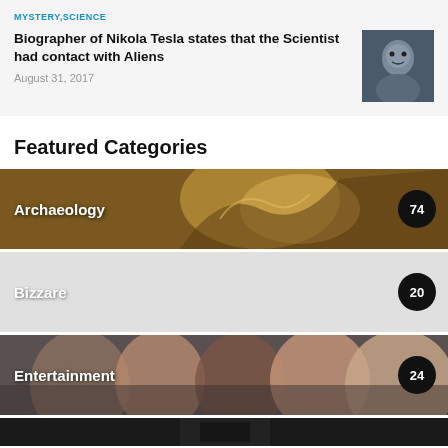MYSTERY, SCIENCE
Biographer of Nikola Tesla states that the Scientist had contact with Aliens
August 31, 2017
Featured Categories
[Figure (photo): Archaeology category banner with fantasy creature illustration, count badge: 74]
[Figure (photo): Bizzare category banner with grey background, count badge: 20]
[Figure (photo): Entertainment category banner with group of people photo, count badge: 24]
[Figure (photo): Dark category banner, partially visible at bottom]